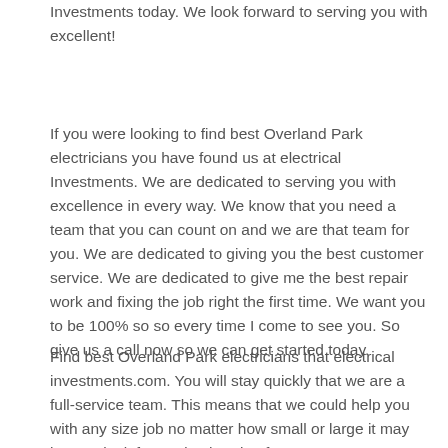Investments today. We look forward to serving you with excellent!
If you were looking to find best Overland Park electricians you have found us at electrical Investments. We are dedicated to serving you with excellence in every way. We know that you need a team that you can count on and we are that team for you. We are dedicated to giving you the best customer service. We are dedicated to give me the best repair work and fixing the job right the first time. We want you to be 100% so so every time I come to see you. So give us a call now so we can get started today.
Find best Overland Park electricians that electrical investments.com. You will stay quickly that we are a full-service team. This means that we could help you with any size job no matter how small or large it may be. We look forward to hearing from you at 816-210-1597 now. Our team was to be your a team and wants